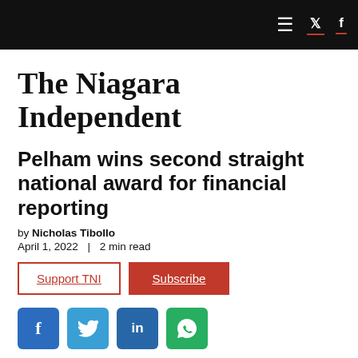The Niagara Independent — Navigation bar with hamburger menu, Twitter and Facebook icons
The Niagara Independent
Pelham wins second straight national award for financial reporting
by Nicholas Tibollo
April 1, 2022 | 2 min read
Support TNI | Subscribe
[Figure (other): Social media share buttons: Facebook, Twitter, LinkedIn, WhatsApp]